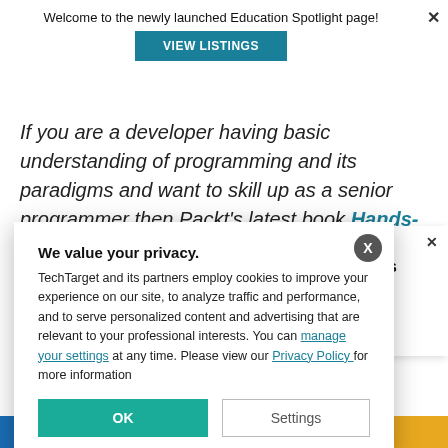Welcome to the newly launched Education Spotlight page!
VIEW LISTINGS
If you are a developer having basic understanding of programming and its paradigms and want to skill up as a senior programmer then Packt's latest book Hands-On ... for you.
We value your privacy.
TechTarget and its partners employ cookies to improve your experience on our site, to analyze traffic and performance, and to serve personalized content and advertising that are relevant to your professional interests. You can manage your settings at any time. Please view our Privacy Policy for more information
OK
Settings
SC Members